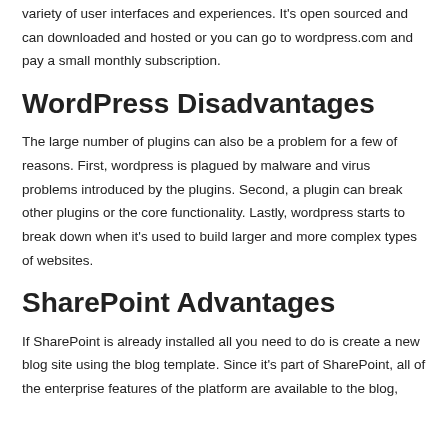variety of user interfaces and experiences. It's open sourced and can downloaded and hosted or you can go to wordpress.com and pay a small monthly subscription.
WordPress Disadvantages
The large number of plugins can also be a problem for a few of reasons. First, wordpress is plagued by malware and virus problems introduced by the plugins. Second, a plugin can break other plugins or the core functionality. Lastly, wordpress starts to break down when it's used to build larger and more complex types of websites.
SharePoint Advantages
If SharePoint is already installed all you need to do is create a new blog site using the blog template. Since it's part of SharePoint, all of the enterprise features of the platform are available to the blog,